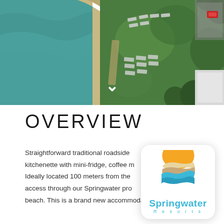[Figure (photo): Aerial drone photograph of a resort property showing beachfront with turquoise water on the left, sandy beach, green lawn area with lounge chairs arranged in rows, trees, and a parking area with a red car visible in the upper right corner. A white chevron/arrow pointing downward is overlaid in the center.]
OVERVIEW
Straightforward traditional roadside kitchenette with mini-fridge, coffee m Ideally located 100 meters from the access through our Springwater pro beach. This is a brand new accommodation in the heart
[Figure (logo): Springwater Resorts logo: circular design with orange sun/semicircle at top, sandy/wave layers in brown and blue tones, blue wave at bottom, with text 'Springwater' in blue bold and 'Resorts' in spaced blue letters below, on white rounded square background.]